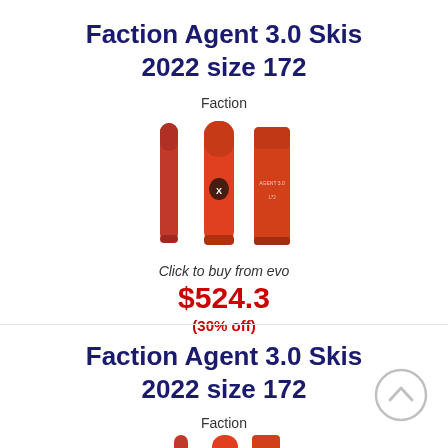Faction Agent 3.0 Skis 2022 size 172
Faction
[Figure (photo): Three views of orange/red Faction Agent 3.0 skis standing upright on white background]
Click to buy from evo
$524.3
(30% off)
Faction Agent 3.0 Skis 2022 size 172
Faction
[Figure (photo): Partial view of orange/red Faction Agent 3.0 skis — cropped at bottom of page]
[Figure (other): Scroll-up navigation button (circle with chevron pointing up) in light gray]